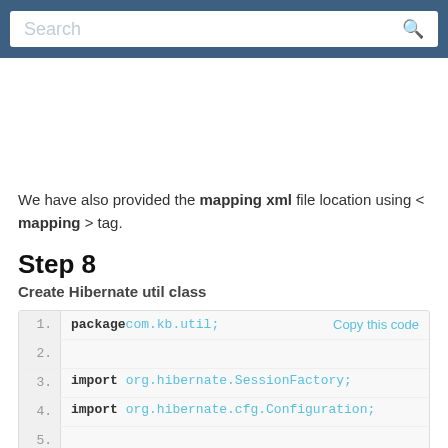Search
We have also provided the mapping xml file location using < mapping > tag.
Step 8
Create Hibernate util class
package com.kb.util;
import org.hibernate.SessionFactory;
import org.hibernate.cfg.Configuration;
public class HibernateUtil {